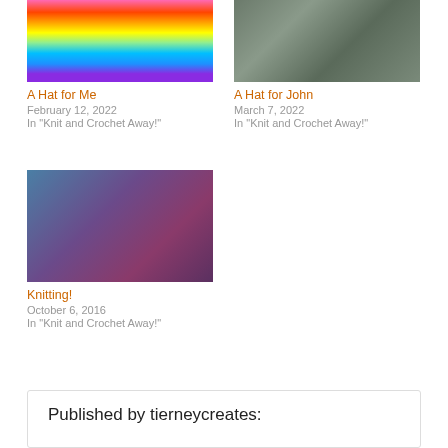[Figure (photo): Colorful rainbow knitted hat from above]
A Hat for Me
February 12, 2022
In "Knit and Crochet Away!"
[Figure (photo): Grey/green textured knitted hat from above]
A Hat for John
March 7, 2022
In "Knit and Crochet Away!"
[Figure (photo): Blue and purple/maroon knitting project with needles]
Knitting!
October 6, 2016
In "Knit and Crochet Away!"
Published by tierneycreates: